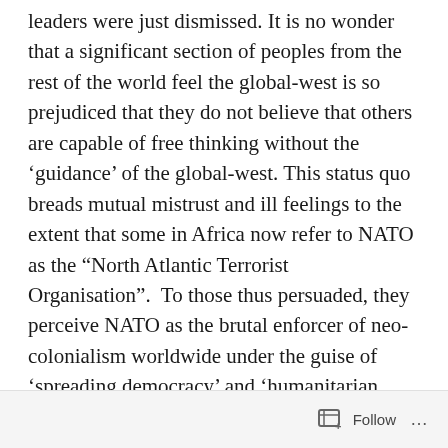leaders were just dismissed. It is no wonder that a significant section of peoples from the rest of the world feel the global-west is so prejudiced that they do not believe that others are capable of free thinking without the ‘guidance’ of the global-west. This status quo breads mutual mistrust and ill feelings to the extent that some in Africa now refer to NATO as the “North Atlantic Terrorist Organisation”.  To those thus persuaded, they perceive NATO as the brutal enforcer of neo-colonialism worldwide under the guise of ‘spreading democracy’ and ‘humanitarian intervention’ – therefore, to them NATO is the epitome of the global-west’s
Follow ...